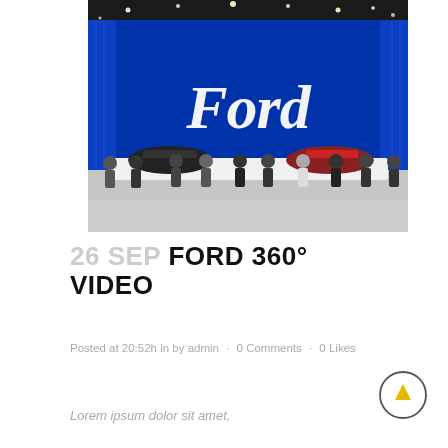[Figure (photo): Ford event photo showing a stage with large Ford logo in blue and white, people seated on white sofas, two cars (black and red) on stage, dark ceiling with lights]
26 SEP FORD 360° VIDEO
Posted at 20:52h in by admin · 0 Comments · 0 Likes
Lorem ipsum dolor sit amet,